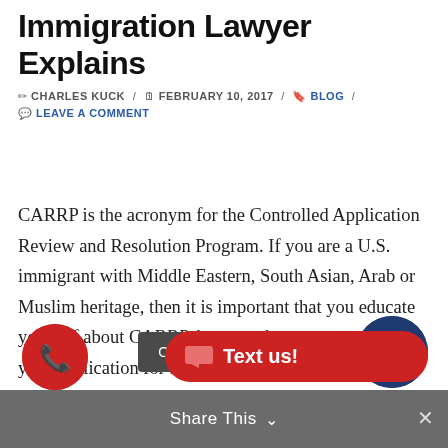Immigration Lawyer Explains
✏ CHARLES KUCK / 📅 FEBRUARY 10, 2017 / 🔖 BLOG / 💬 LEAVE A COMMENT
CARRP is the acronym for the Controlled Application Review and Resolution Program. If you are a U.S. immigrant with Middle Eastern, South Asian, Arab or Muslim heritage, then it is important that you educate yourself about CARRP, because the program could put your application for a green card, naturalization, and other immigration forms in an indefinite holding pattern.
Share This ∨